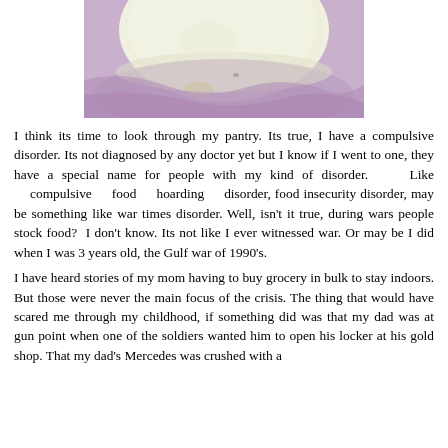[Figure (photo): Close-up photo of what appears to be a white round object (possibly food like onion or egg) on a purple/lavender background, partially cropped at top]
I think its time to look through my pantry. Its true, I have a compulsive disorder. Its not diagnosed by any doctor yet but I know if I went to one, they have a special name for people with my kind of disorder. Like compulsive food hoarding disorder, food insecurity disorder, may be something like war times disorder. Well, isn't it true, during wars people stock food? I don't know. Its not like I ever witnessed war. Or may be I did when I was 3 years old, the Gulf war of 1990's.
I have heard stories of my mom having to buy grocery in bulk to stay indoors. But those were never the main focus of the crisis. The thing that would have scared me through my childhood, if something did was that my dad was at gun point when one of the soldiers wanted him to open his locker at his gold shop. That my dad's Mercedes was crushed with a